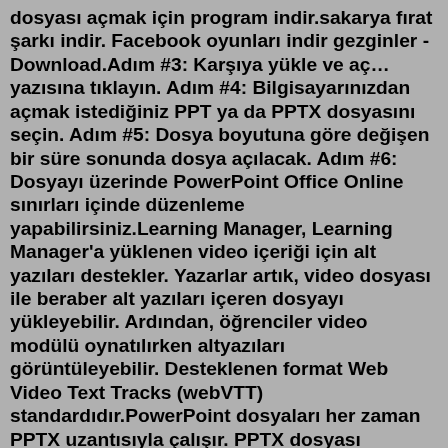dosyası açmak için program indir.sakarya fırat şarkı indir. Facebook oyunları indir gezginler - Download.Adım #3: Karşıya yükle ve aç… yazısına tıklayın. Adım #4: Bilgisayarınızdan açmak istediğiniz PPT ya da PPTX dosyasını seçin. Adım #5: Dosya boyutuna göre değişen bir süre sonunda dosya açılacak. Adım #6: Dosyayı üzerinde PowerPoint Office Online sınırları içinde düzenleme yapabilirsiniz.Learning Manager, Learning Manager'a yüklenen video içeriği için alt yazıları destekler. Yazarlar artık, video dosyası ile beraber alt yazıları içeren dosyayı yükleyebilir. Ardından, öğrenciler video modülü oynatılırken altyazıları görüntüleyebilir. Desteklenen format Web Video Text Tracks (webVTT) standardıdır.PowerPoint dosyaları her zaman PPTX uzantısıyla çalışır. PPTX dosyası herhangi başka bir uygulamayı içinde barındırmıyor. Sadece PowerPoint dosyalarında kullanılıyor. ... Program ilk açıldığında Word belgesi varsayılan isim olarak Belge1 ismi ile açılır. Dosya işlemlerinden kayıt yapıldıktan sonra kullanıcının... Doğru Uygulama...